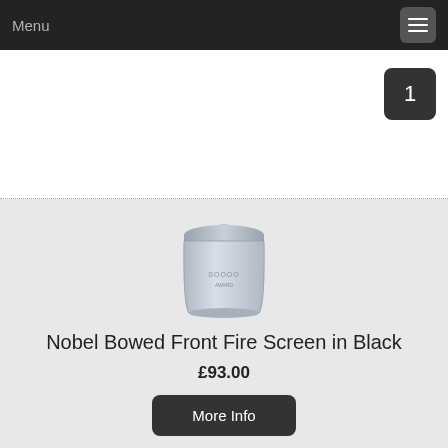Menu
[Figure (other): Product image of Nobel Bowed Front Fire Screen in Black - a cylindrical grey container with lid]
Nobel Bowed Front Fire Screen in Black
£93.00
More Info